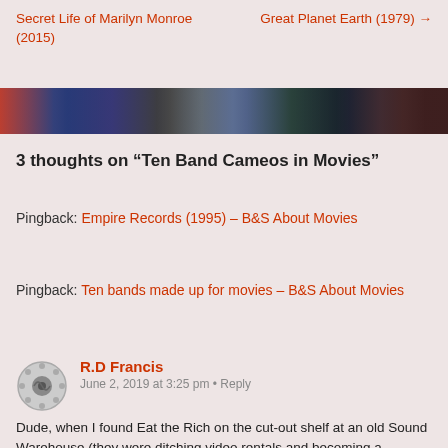Secret Life of Marilyn Monroe (2015)
Great Planet Earth (1979) →
[Figure (photo): Horizontal banner strip showing collage of movie-related images including album covers and posters]
3 thoughts on “Ten Band Cameos in Movies”
Pingback: Empire Records (1995) – B&S About Movies
Pingback: Ten bands made up for movies – B&S About Movies
R.D Francis  June 2, 2019 at 3:25 pm · Reply
Dude, when I found Eat the Rich on the cut-out shelf at an old Sound Warehouse (they were ditching video rentals and becoming a Blockbuster music) I freaked. $3.00! SOLD! Then